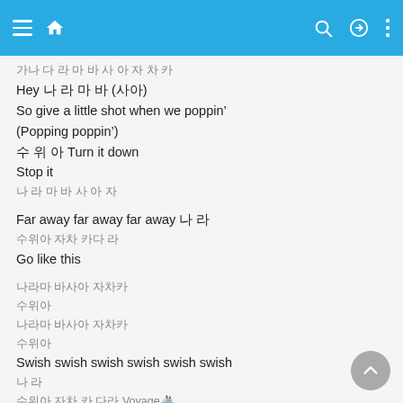App navigation bar with menu, home, search, login, and more icons
Hey [Korean] ([Korean])
So give a little shot when we poppin'
(Popping poppin')
[Korean] Turn it down
Stop it
[Korean]

Far away far away far away [Korean]
[Korean]
Go like this

[Korean]
[Korean]
[Korean]
[Korean]
Swish swish swish swish swish swish
[Korean]
[Korean] Voyage[emoji]

(Woo ooh ooh woo)